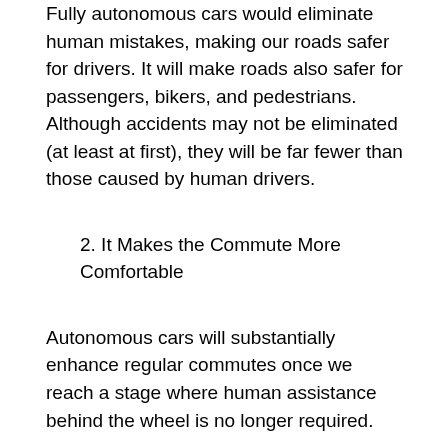Fully autonomous cars would eliminate human mistakes, making our roads safer for drivers. It will make roads also safer for passengers, bikers, and pedestrians. Although accidents may not be eliminated (at least at first), they will be far fewer than those caused by human drivers.
2. It Makes the Commute More Comfortable
Autonomous cars will substantially enhance regular commutes once we reach a stage where human assistance behind the wheel is no longer required.
It is possible to stretch out in the rear of an autonomous vehicle, instead of sitting behind the wheel, allowing you to get ahead on some work. Autonomous vehicles will allow you to simply relax and catch up on your newest Netflix addiction. Wouldn’t it be nice to drive a car with a great interior like the 2022 Toyota Corolla Cross while